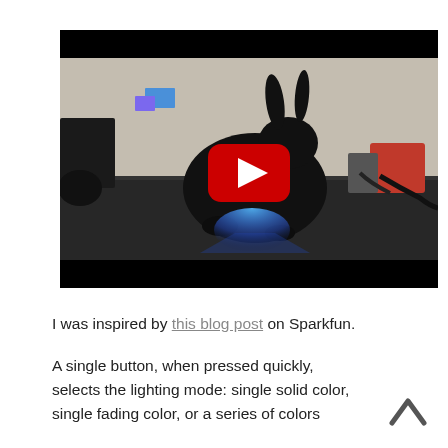[Figure (photo): YouTube video thumbnail showing a black rabbit silhouette sculpture on a desk with a blue LED light glowing at its base, a red YouTube play button overlay in the center, against a room background with cables and objects visible.]
I was inspired by this blog post on Sparkfun.
A single button, when pressed quickly, selects the lighting mode: single solid color, single fading color, or a series of colors